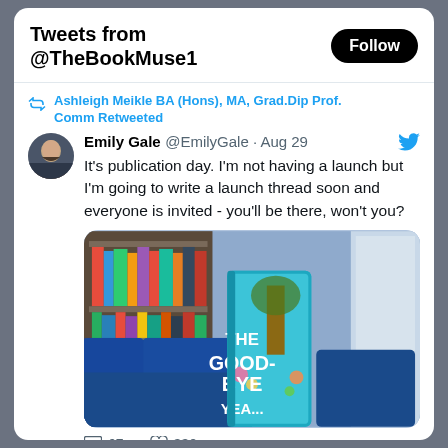Tweets from @TheBookMuse1
Ashleigh Meikle BA (Hons), MA, Grad.Dip Prof. Comm Retweeted
Emily Gale @EmilyGale · Aug 29
It's publication day. I'm not having a launch but I'm going to write a launch thread soon and everyone is invited - you'll be there, won't you?
[Figure (photo): Photo of a book titled 'The Goodbye Year' propped on a blue velvet chair in front of a bookshelf. The book has a teal/turquoise illustrated cover.]
67   330